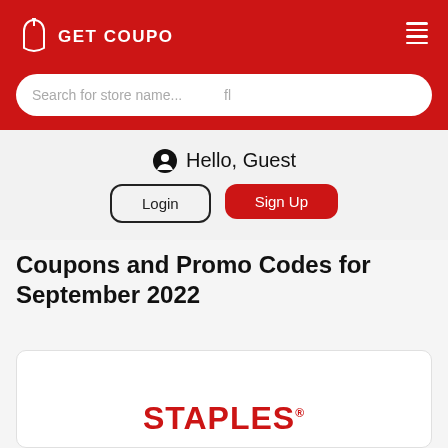GET COUPO
Search for store name...
Hello, Guest
Login
Sign Up
Coupons and Promo Codes for September 2022
[Figure (logo): STAPLES logo in red uppercase bold text with trademark symbol]